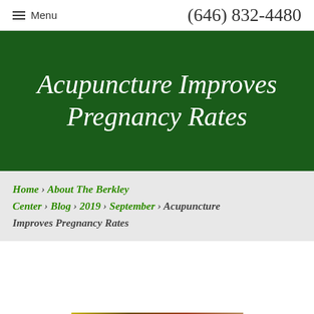☰ Menu   (646) 832-4480
Acupuncture Improves Pregnancy Rates
Home › About The Berkley Center › Blog › 2019 › September › Acupuncture Improves Pregnancy Rates
[Figure (photo): Partial image of acupuncture needles or related medical item, appearing at bottom of page as a horizontal strip]